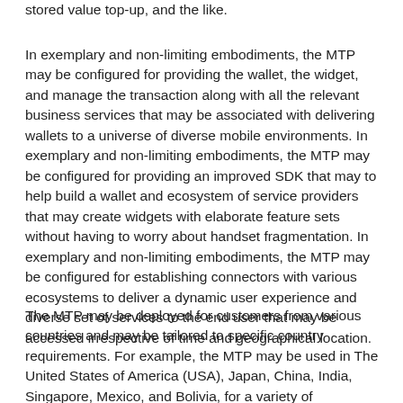stored value top-up, and the like.
In exemplary and non-limiting embodiments, the MTP may be configured for providing the wallet, the widget, and manage the transaction along with all the relevant business services that may be associated with delivering wallets to a universe of diverse mobile environments. In exemplary and non-limiting embodiments, the MTP may be configured for providing an improved SDK that may to help build a wallet and ecosystem of service providers that may create widgets with elaborate feature sets without having to worry about handset fragmentation. In exemplary and non-limiting embodiments, the MTP may be configured for establishing connectors with various ecosystems to deliver a dynamic user experience and diverse set of services to the end user that may be accessed irrespective of time and geographical location.
The MTP may be deployed for customers from various countries and may be tailored to specific country requirements. For example, the MTP may be used in The United States of America (USA), Japan, China, India, Singapore, Mexico, and Bolivia, for a variety of